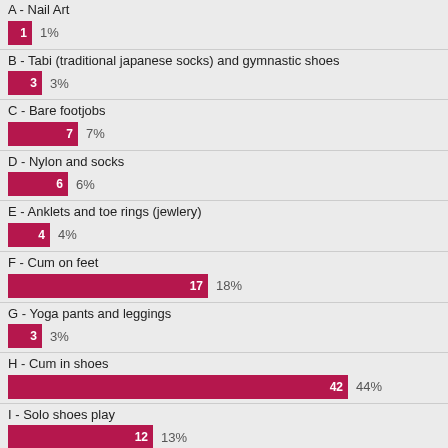[Figure (bar-chart): Survey results]